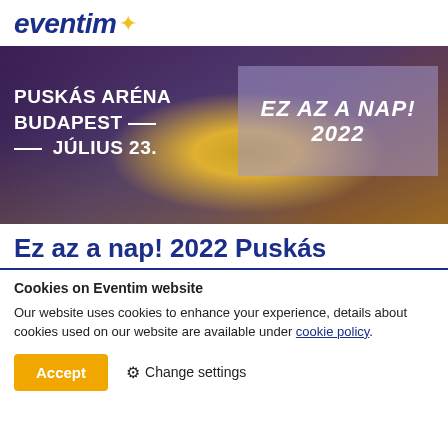[Figure (logo): Eventim logo with dark blue italic text and yellow star]
[Figure (photo): Aerial night photo of Puskás Aréna Budapest stadium with overlay text: PUSKÁS ARÉNA BUDAPEST JÚLIUS 23. and EZ AZ A NAP! 2022]
Ez az a nap! 2022 Puskás
Cookies on Eventim website
Our website uses cookies to enhance your experience, details about cookies used on our website are available under cookie policy.
Accept   ✦ Change settings